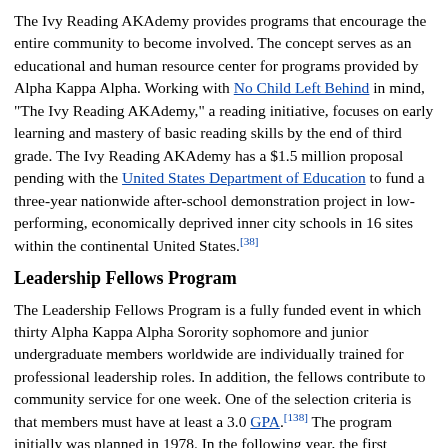The Ivy Reading AKAdemy provides programs that encourage the entire community to become involved. The concept serves as an educational and human resource center for programs provided by Alpha Kappa Alpha. Working with No Child Left Behind in mind, "The Ivy Reading AKAdemy," a reading initiative, focuses on early learning and mastery of basic reading skills by the end of third grade. The Ivy Reading AKAdemy has a $1.5 million proposal pending with the United States Department of Education to fund a three-year nationwide after-school demonstration project in low-performing, economically deprived inner city schools in 16 sites within the continental United States.[38]
Leadership Fellows Program
The Leadership Fellows Program is a fully funded event in which thirty Alpha Kappa Alpha Sorority sophomore and junior undergraduate members worldwide are individually trained for professional leadership roles. In addition, the fellows contribute to community service for one week. One of the selection criteria is that members must have at least a 3.0 GPA.[138] The program initially was planned in 1978. In the following year, the first program was held in Indiana with twenty-nine students.[38] Various cities around the United States have held the Leadership Fellows